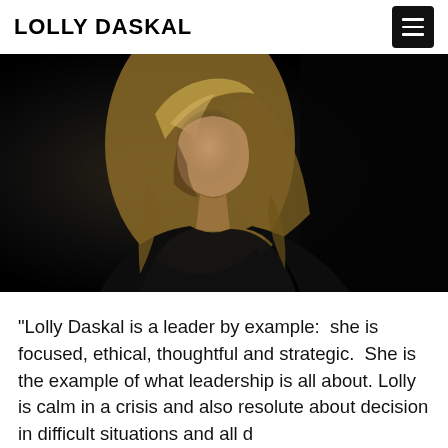LOLLY DASKAL
[Figure (photo): A woman with long blonde hair wearing a black outfit, photographed against a dark/black background, dramatic lighting]
“Lolly Daskal is a leader by example:  she is focused, ethical, thoughtful and strategic.  She is the example of what leadership is all about. Lolly is calm in a crisis and also resolute about decision in difficult situations and all d